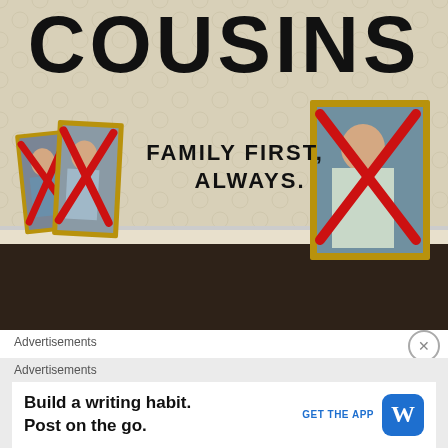[Figure (photo): Promotional image for 'COUSINS' — shows framed portraits of women with red X marks over their faces, arranged against a patterned wallpaper wall with graffiti-style text reading 'FAMILY FIRST, ALWAYS.' Dark wooden floor. Large bold title 'COUSINS' at top.]
Advertisements
Advertisements
Build a writing habit. Post on the go.
GET THE APP